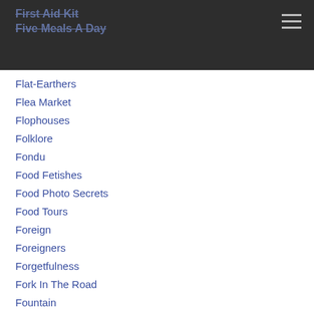First Aid Kit
Five Meals A Day
Flat-Earthers
Flea Market
Flophouses
Folklore
Fondu
Food Fetishes
Food Photo Secrets
Food Tours
Foreign
Foreigners
Forgetfulness
Fork In The Road
Fountain
Free Wi-Fi Finder
French Bistro
French Women Don't Get Fat
Fried Flies